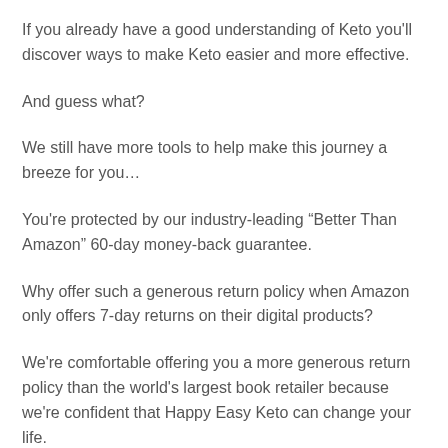If you already have a good understanding of Keto you'll discover ways to make Keto easier and more effective.
And guess what?
We still have more tools to help make this journey a breeze for you…
You're protected by our industry-leading “Better Than Amazon” 60-day money-back guarantee.
Why offer such a generous return policy when Amazon only offers 7-day returns on their digital products?
We're comfortable offering you a more generous return policy than the world's largest book retailer because we're confident that Happy Easy Keto can change your life.
And if for any reason you don't feel Happy Easy Keto is exactly